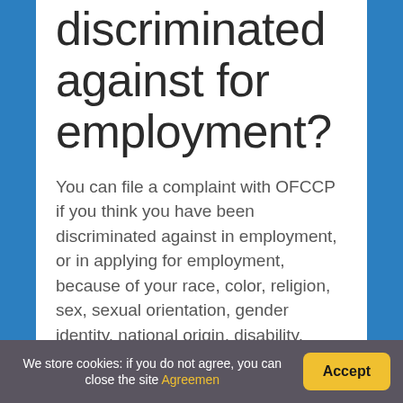discriminated against for employment?
You can file a complaint with OFCCP if you think you have been discriminated against in employment, or in applying for employment, because of your race, color, religion, sex, sexual orientation, gender identity, national origin, disability, status as a protected veteran, or for asking about, discussing, or disclosing
We store cookies: if you do not agree, you can close the site Agreemen